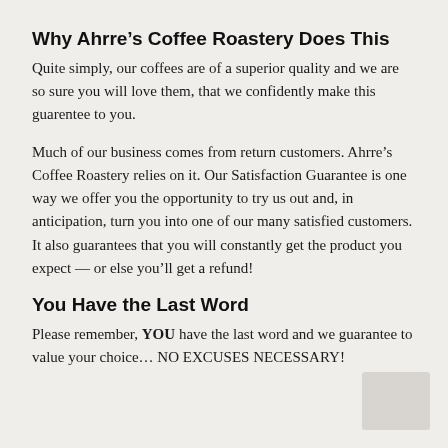Why Ahrre’s Coffee Roastery Does This
Quite simply, our coffees are of a superior quality and we are so sure you will love them, that we confidently make this guarentee to you.
Much of our business comes from return customers. Ahrre’s Coffee Roastery relies on it. Our Satisfaction Guarantee is one way we offer you the opportunity to try us out and, in anticipation, turn you into one of our many satisfied customers. It also guarantees that you will constantly get the product you expect — or else you’ll get a refund!
You Have the Last Word
Please remember, YOU have the last word and we guarantee to value your choice… NO EXCUSES NECESSARY!